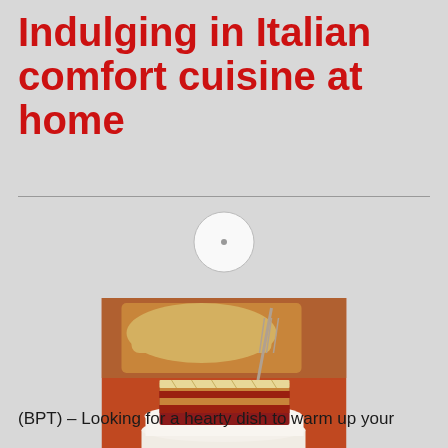Indulging in Italian comfort cuisine at home
[Figure (photo): A serving of lasagna with meat sauce and melted cheese on a white plate, with a fork visible, and a dish of food in the background, on an orange/red tablecloth.]
(BPT) – Looking for a hearty dish to warm up your